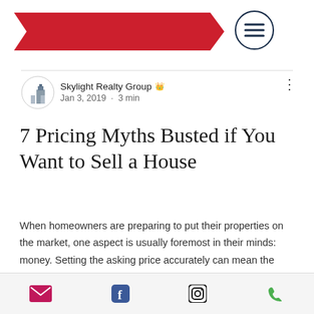[Figure (logo): Red ribbon banner logo with Skylight Realty Group name, and a circular menu icon with three horizontal lines on the right]
Skylight Realty Group 👑
Jan 3, 2019 · 3 min
7 Pricing Myths Busted if You Want to Sell a House
When homeowners are preparing to put their properties on the market, one aspect is usually foremost in their minds: money. Setting the asking price accurately can mean the difference between getting an offer quickly and having a house languish for months. With that in mind, it is important that potential sellers block out a lot of the
Email | Facebook | Instagram | Phone